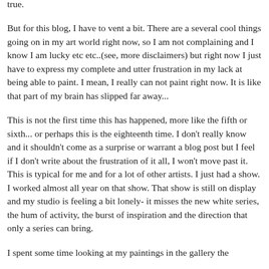true.
But for this blog, I have to vent a bit. There are a several cool things going on in my art world right now, so I am not complaining and I know I am lucky etc etc..(see, more disclaimers) but right now I just have to express my complete and utter frustration in my lack at being able to paint. I mean, I really can not paint right now. It is like that part of my brain has slipped far away...
This is not the first time this has happened, more like the fifth or sixth... or perhaps this is the eighteenth time. I don't really know and it shouldn't come as a surprise or warrant a blog post but I feel if I don't write about the frustration of it all, I won't move past it. This is typical for me and for a lot of other artists. I just had a show. I worked almost all year on that show. That show is still on display and my studio is feeling a bit lonely- it misses the new white series, the hum of activity, the burst of inspiration and the direction that only a series can bring.
I spent some time looking at my paintings in the gallery the